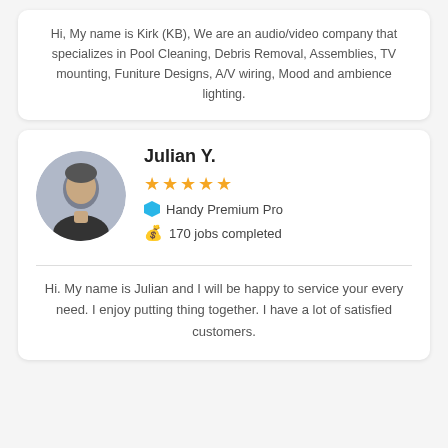Hi, My name is Kirk (KB), We are an audio/video company that specializes in Pool Cleaning, Debris Removal, Assemblies, TV mounting, Funiture Designs, A/V wiring, Mood and ambience lighting.
Julian Y.
Handy Premium Pro
170 jobs completed
Hi. My name is Julian and I will be happy to service your every need. I enjoy putting thing together. I have a lot of satisfied customers.